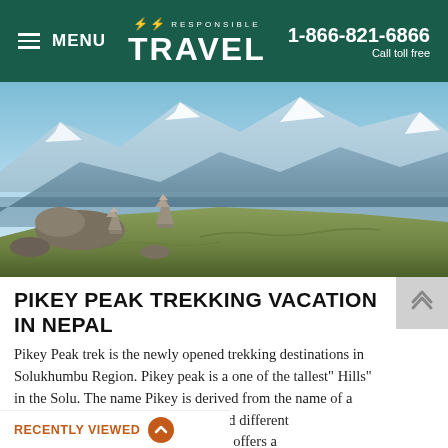≡ MENU  ♣ RESPONSIBLE TRAVEL  1-866-821-6866 Call toll free
[Figure (photo): Mountain landscape photo showing snow-capped Himalayan peaks in the background under a blue sky, with a grassy hill in the foreground featuring stone cairns/stupas stacked on top.]
PIKEY PEAK TREKKING VACATION IN NEPAL
Pikey Peak trek is the newly opened trekking destinations in Solukhumbu Region. Pikey peak is a one of the tallest" Hills" in the Solu. The name Pikey is derived from the name of a Sherpa ... July the locals hold different ... lan god. This peak offers a ... malayan Range and Numbur...
RECENTLY VIEWED